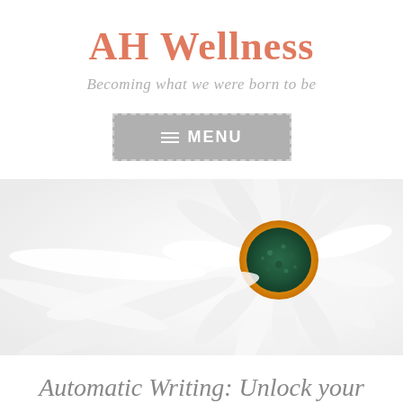AH Wellness
Becoming what we were born to be
[Figure (screenshot): Navigation menu button with hamburger icon and text MENU, grey background with dashed border]
[Figure (photo): Close-up photo of a white daisy flower with a green and yellow center, on a light background]
Automatic Writing: Unlock your Subconscious Desires